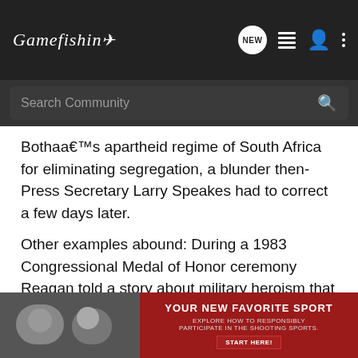Gamefishin — NEW [navigation icons]
Search Community
Bothaa€™s apartheid regime of South Africa for eliminating segregation, a blunder then-Press Secretary Larry Speakes had to correct a few days later.
Other examples abound: During a 1983 Congressional Medal of Honor ceremony Reagan told a story about military heroism that New York Daily News columnist Lars-Erik Nelson wrote never happened. Nelson had checked the citations on all 434 Congressional Medals of Honor awarded during WWII. The scene Reagan described did appear, however, in the 1944 film A Wing and a Prayer. Larry Speakesâ€™ response? â€œIf you tell the same story five times, itâ€™s true.â€?
And letâ€™ [economy...] have still
[Figure (screenshot): Advertisement banner: YOUR NEW FAVORITE SPORT — EXPLORE HOW TO RESPONSIBLY PARTICIPATE IN THE SHOOTING SPORTS. START HERE!]